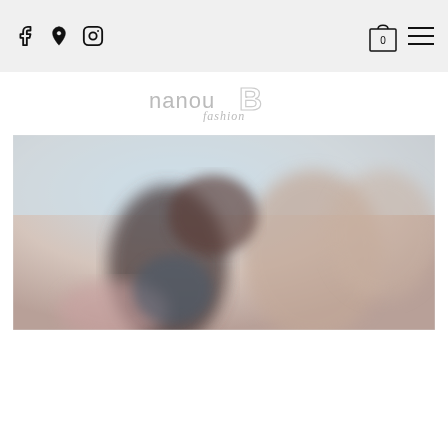Navigation bar with Facebook, Maps, Instagram icons and shopping bag (0) and menu
[Figure (logo): Nanou B fashion logo in light gray/outline style]
[Figure (photo): Blurred outdoor photo showing two people, warm tones, light blue sky background]